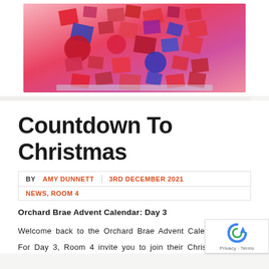[Figure (photo): A colorful collage art piece with red, pink, blue, orange and purple paper pieces arranged on a foil/metallic base, mounted on a wall.]
Countdown To Christmas
BY AMY DUNNETT | 3RD DECEMBER 2021
NEWS, ROOM 4
Orchard Brae Advent Calendar: Day 3
Welcome back to the Orchard Brae Advent Cale…
For Day 3, Room 4 invite you to join their Christmas…